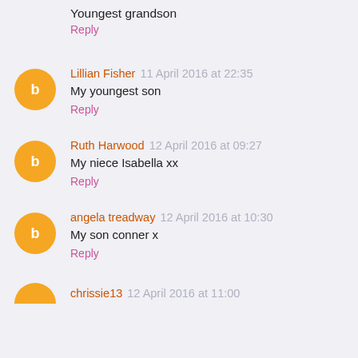Youngest grandson
Reply
Lillian Fisher 11 April 2016 at 22:35
My youngest son
Reply
Ruth Harwood 12 April 2016 at 09:27
My niece Isabella xx
Reply
angela treadway 12 April 2016 at 10:30
My son conner x
Reply
chrissie13 12 April 2016 at 11:00